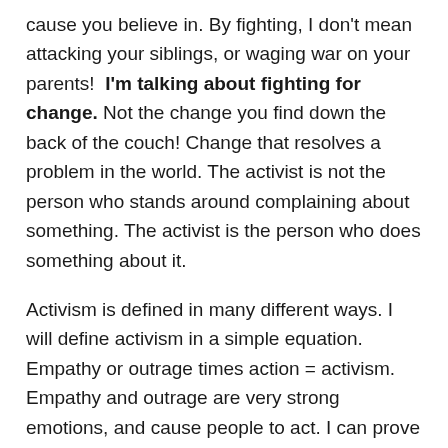cause you believe in. By fighting, I don't mean attacking your siblings, or waging war on your parents!  I'm talking about fighting for change. Not the change you find down the back of the couch! Change that resolves a problem in the world. The activist is not the person who stands around complaining about something. The activist is the person who does something about it.
Activism is defined in many different ways. I will define activism in a simple equation. Empathy or outrage times action = activism. Empathy and outrage are very strong emotions, and cause people to act. I can prove this: when your siblings are annoying you, you feel very angry, and have a strong urge to act against them. This is actually a form of activism in itself, but maybe not the best type! The other day someone who passionately believes that 1080 poison is ruining the environment, threw rat poison in Nick Smith' face.  There are